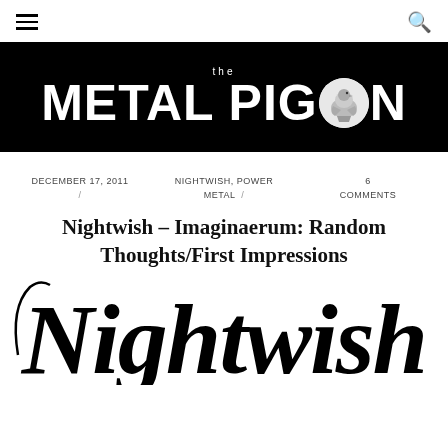The Metal Pigeon — navigation bar with hamburger menu and search icon
[Figure (logo): The Metal Pigeon logo — black banner with bold white uppercase text 'METAL PIGEON' with small 'the' above, and a circular inset illustration of a pigeon replacing the 'O' in PIGEON]
DECEMBER 17, 2011 / NIGHTWISH, POWER METAL / 6 COMMENTS
Nightwish – Imaginaerum: Random Thoughts/First Impressions
[Figure (illustration): Decorative script text 'Nightwish' in large ornate black cursive lettering, partially cropped at bottom of page]